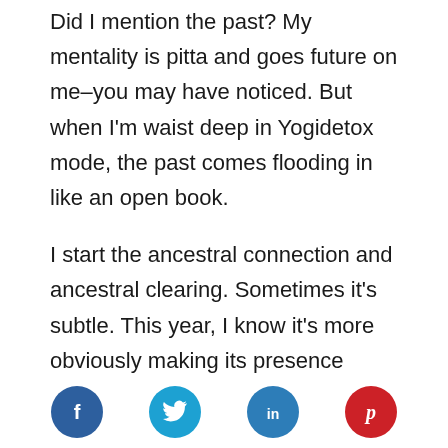Did I mention the past? My mentality is pitta and goes future on me–you may have noticed. But when I'm waist deep in Yogidetox mode, the past comes flooding in like an open book.
I start the ancestral connection and ancestral clearing. Sometimes it's subtle. This year, I know it's more obviously making its presence known. Plus, I roped Sarita Rocco
[Figure (infographic): Social media share icons: Facebook (dark blue circle with f), Twitter (light blue circle with bird), LinkedIn (medium blue circle with in), Pinterest (red circle with p)]